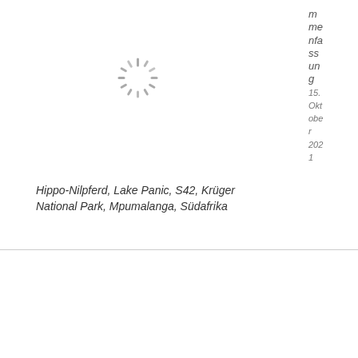[Figure (other): Loading spinner icon (circular dashed ring indicating loading state)]
m me nfa ss un g 15. Oktober 2021
Hippo-Nilpferd, Lake Panic, S42, Krüger National Park, Mpumalanga, Südafrika
Wir verwenden Cookies, um unsere Website und unseren Service zu optimieren.
Cookie Einstellungen
Akzeptieren